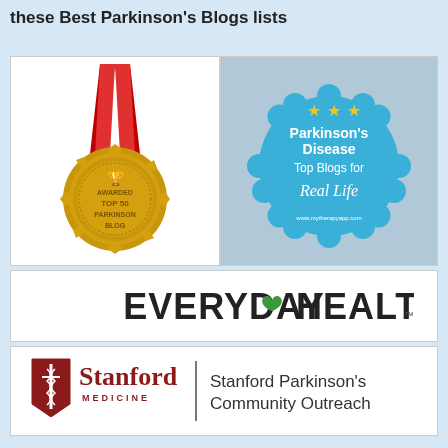these Best Parkinson's Blogs lists
[Figure (illustration): Gold medal with red ribbon labeled 'AWARDED TOP 50 PARKINSON BLOG']
[Figure (illustration): Blue badge with stars reading 'Parkinson's Disease Top Blogs for Real Life' from www.mytherapyapp.com]
[Figure (logo): Everyday Health logo with green heart]
[Figure (logo): Stanford Medicine logo with text 'Stanford Parkinson's Community Outreach']